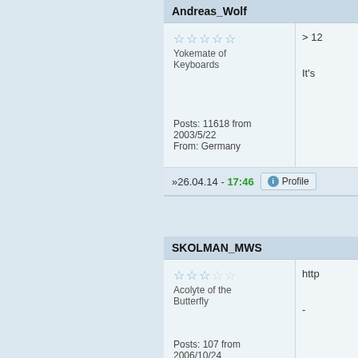Andreas_Wolf
Yokemate of Keyboards
Posts: 11618 from 2003/5/22
From: Germany
»26.04.14 - 17:46
Profile
> 12
It's
SKOLMAN_MWS
Acolyte of the Butterfly
Posts: 107 from 2006/10/24
http
-